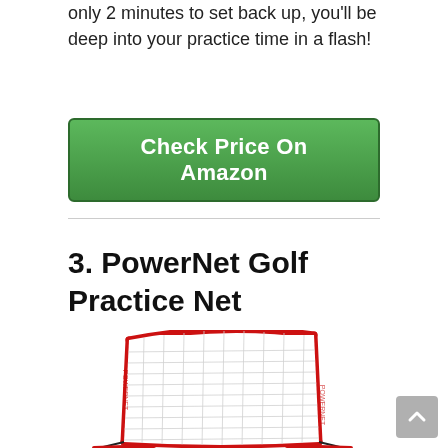only 2 minutes to set back up, you'll be deep into your practice time in a flash!
[Figure (other): Green 'Check Price On Amazon' call-to-action button]
3. PowerNet Golf Practice Net
[Figure (photo): Photo of the PowerNet Golf Practice Net — a large square net with red frame borders, white netting, and stabilizing legs at the base.]